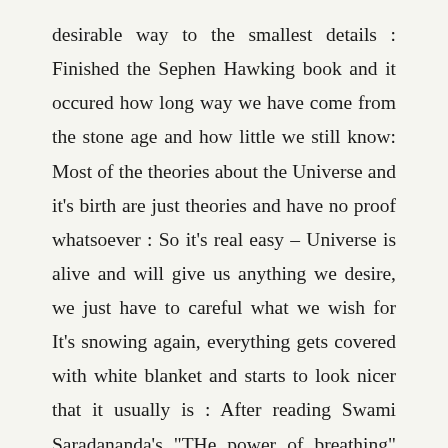desirable way to the smallest details : Finished the Sephen Hawking book and it occured how long way we have come from the stone age and how little we still know: Most of the theories about the Universe and it's birth are just theories and have no proof whatsoever : So it's real easy – Universe is alive and will give us anything we desire, we just have to careful what we wish for It's snowing again, everything gets covered with white blanket and starts to look nicer that it usually is : After reading Swami Saradananda's "THe power of breathing" started to realize again how important right breathing really is